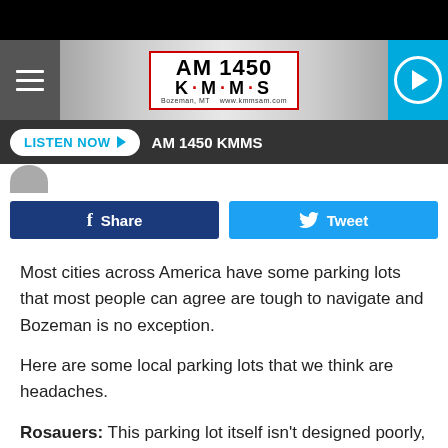[Figure (screenshot): AM 1450 KMMS radio station website header with hamburger menu, logo, and play button]
[Figure (screenshot): Listen Now button bar with AM 1450 KMMS station name]
[Figure (screenshot): Facebook Share and Twitter Tweet social sharing buttons]
Most cities across America have some parking lots that most people can agree are tough to navigate and Bozeman is no exception.
Here are some local parking lots that we think are headaches.
Rosauers: This parking lot itself isn't designed poorly, but the bank in the east side of the lot is in an awkward spot and can